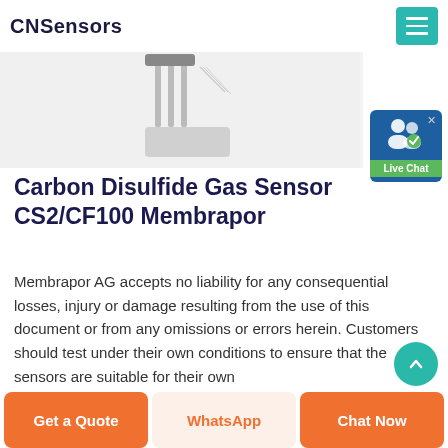CNSensors
[Figure (photo): Product photo of Carbon Disulfide Gas Sensor CS2/CF100 Membrapor, showing sensor component close-up on white background]
Carbon Disulfide Gas Sensor CS2/CF100 Membrapor
Membrapor AG accepts no liability for any consequential losses, injury or damage resulting from the use of this document or from any omissions or errors herein. Customers should test under their own conditions to ensure that the sensors are suitable for their own
Get a Quote | WhatsApp | Chat Now